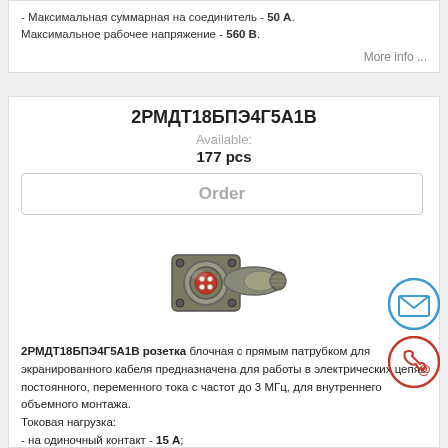- Максимальная суммарная на соединитель - 50 А.
Максимальное рабочее напряжение - 560 В.
More info ...
2РМДТ18БПЭ4Г5А1В
Available:
177 pcs
Order
[Figure (photo): Military/industrial circular connector (2РМДТ18БПЭ4Г5А1В) with panel mount and cable attachment, viewed from front-side angle. Olive/grey metal body with red pin socket visible.]
2РМДТ18БПЭ4Г5А1В розетка блочная с прямым патрубком для экранированного кабеля предназначена для работы в электрических цепях постоянного, переменного тока с частотой до 3 МГц, для внутреннего объемного монтажа.
Токовая нагрузка:
- на одиночный контакт - 15 А;
- максимальная суммарная на соединитель - 50 А.
Максимальное рабочее напряжение - 560 В.
More info ...